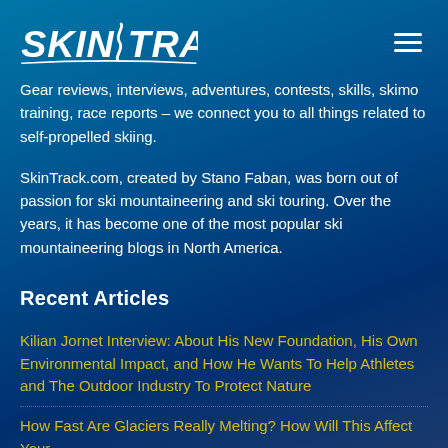SkinTrack
Gear reviews, interviews, adventures, contests, skills, skimo training, race reports – we connect you to all things related to self-propelled skiing.
SkinTrack.com, created by Stano Faban, was born out of passion for ski mountaineering and ski touring. Over the years, it has become one of the most popular ski mountaineering blogs in North America.
Recent Articles
Kilian Jornet Interview: About His New Foundation, His Own Environmental Impact, and How He Wants To Help Athletes and The Outdoor Industry To Protect Nature
How Fast Are Glaciers Really Melting? How Will This Affect Your...